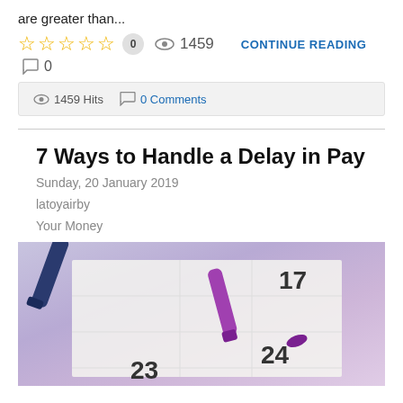are greater than...
☆☆☆☆☆  0   👁 1459   CONTINUE READING
💬 0
👁 1459 Hits   💬 0 Comments
7 Ways to Handle a Delay in Pay
Sunday, 20 January 2019
latoyairby
Your Money
[Figure (photo): Close-up photo of a calendar with date numbers 17, 23, 24 visible and two markers (dark blue and purple) resting on it]